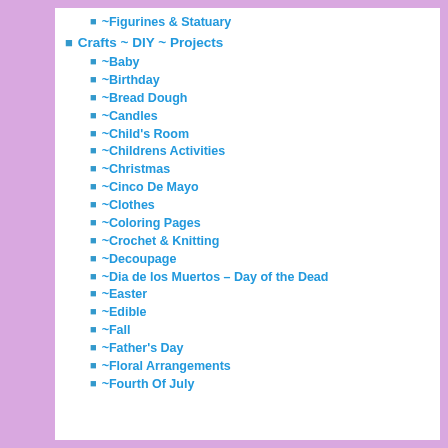~Figurines & Statuary
Crafts ~ DIY ~ Projects
~Baby
~Birthday
~Bread Dough
~Candles
~Child's Room
~Childrens Activities
~Christmas
~Cinco De Mayo
~Clothes
~Coloring Pages
~Crochet & Knitting
~Decoupage
~Dia de los Muertos – Day of the Dead
~Easter
~Edible
~Fall
~Father's Day
~Floral Arrangements
~Fourth Of July